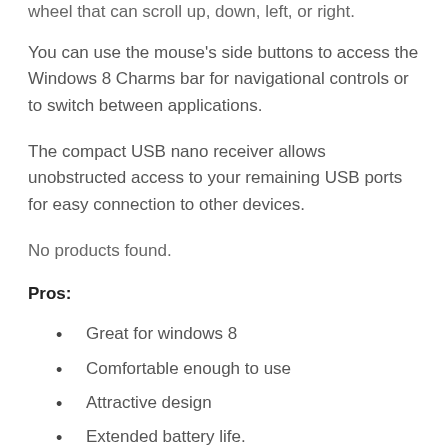wheel that can scroll up, down, left, or right.
You can use the mouse's side buttons to access the Windows 8 Charms bar for navigational controls or to switch between applications.
The compact USB nano receiver allows unobstructed access to your remaining USB ports for easy connection to other devices.
No products found.
Pros:
Great for windows 8
Comfortable enough to use
Attractive design
Extended battery life.